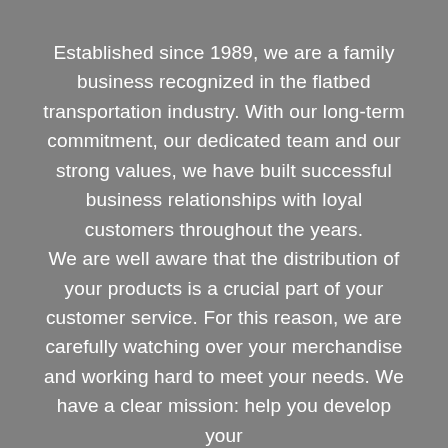Established since 1989, we are a family business recognized in the flatbed transportation industry. With our long-term commitment, our dedicated team and our strong values, we have built successful business relationships with loyal customers throughout the years.
We are well aware that the distribution of your products is a crucial part of your customer service. For this reason, we are carefully watching over your merchandise and working hard to meet your needs. We have a clear mission: help you develop your